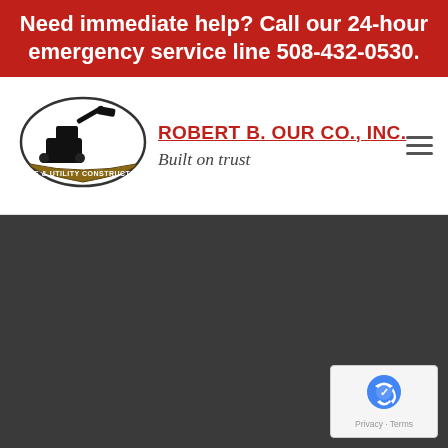Need immediate help? Call our 24-hour emergency service line 508-432-0530.
[Figure (logo): Robert B. Our Co., Inc. company logo: oval with excavator silhouette and 'Site & Utility Construction' banner, with company name and tagline 'Built on trust']
[Figure (other): Dark gray background section (image area)]
[Figure (other): Google reCAPTCHA badge with Privacy and Terms links]